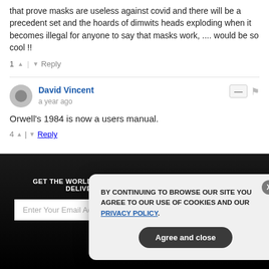that prove masks are useless against covid and there will be a precedent set and the hoards of dimwits heads exploding when it becomes illegal for anyone to say that masks work, .... would be so cool !!
1 ↑ | ↓ Reply
David Vincent · a year ago
Orwell's 1984 is now a users manual.
4 ↑ | ↓ Reply
[Figure (screenshot): Dark newsletter signup banner with email input and SUBSCRIBE button, partially obscured by cookie consent dialog]
GET THE WORLD'S BEST NATURAL HEALTH NEWSLETTER DELIVERED STRAIGHT TO YOUR INBOX
BY CONTINUING TO BROWSE OUR SITE YOU AGREE TO OUR USE OF COOKIES AND OUR PRIVACY POLICY. Agree and close